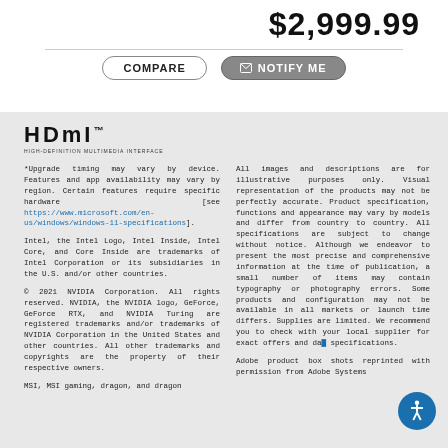$2,999.99
[Figure (other): COMPARE button and NOTIFY ME button]
[Figure (logo): HDMI High-Definition Multimedia Interface logo]
*Upgrade timing may vary by device. Features and app availability may vary by region. Certain features require specific hardware (see https://www.microsoft.com/en-us/windows/windows-11-specifications).
Intel, the Intel Logo, Intel Inside, Intel Core, and Core Inside are trademarks of Intel Corporation or its subsidiaries in the U.S. and/or other countries.
© 2021 NVIDIA Corporation. All rights reserved. NVIDIA, the NVIDIA logo, GeForce, GeForce RTX, and NVIDIA Turing are registered trademarks and/or trademarks of NVIDIA Corporation in the United States and other countries. All other trademarks and copyrights are the property of their respective owners.
MSI, MSI gaming, dragon, and dragon shield names and logos, as well as any other MSI trademarks are trademarks or registered trademarks of Micro-Star Int'l Co., Ltd.
All images and descriptions are for illustrative purposes only. Visual representation of the products may not be perfectly accurate. Product specification, functions and appearance may vary by models and differ from country to country. All specifications are subject to change without notice. Although we endeavor to present the most precise and comprehensive information at the time of publication, a small number of items may contain typography or photography errors. Some products and configuration may not be available in all markets or launch time differs. Supplies are limited. We recommend you to check with your local supplier for exact offers and detailed specifications.
Adobe product box shots reprinted with permission from Adobe Systems